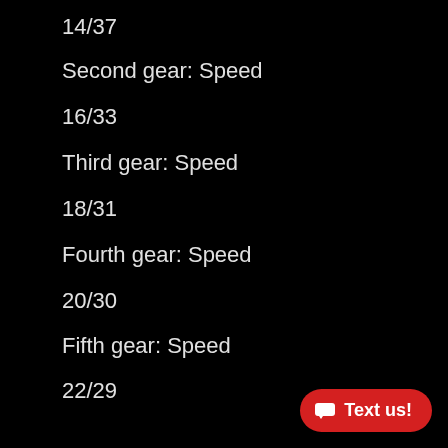14/37
Second gear: Speed
16/33
Third gear: Speed
18/31
Fourth gear: Speed
20/30
Fifth gear: Speed
22/29
Sixth gear: Speed
21/25